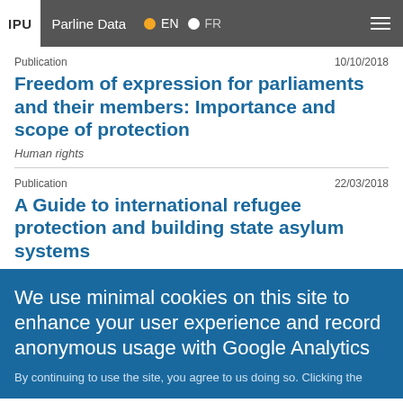IPU  Parline Data  EN  FR
Publication	10/10/2018
Freedom of expression for parliaments and their members: Importance and scope of protection
Human rights
Publication	22/03/2018
A Guide to international refugee protection and building state asylum systems
We use minimal cookies on this site to enhance your user experience and record anonymous usage with Google Analytics
By continuing to use the site, you agree to us doing so. Clicking the